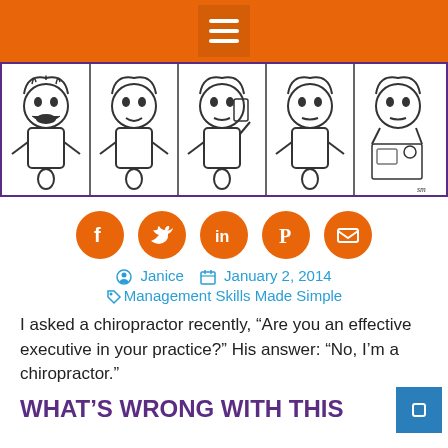Menu icon / navigation bar
[Figure (illustration): Comic strip showing a sequence of cartoon panels with a boy character in various poses, black and white line drawing with purple border]
[Figure (infographic): Row of 5 orange circular social media icons: Facebook, Twitter, LinkedIn, Pinterest, Email]
Janice  January 2, 2014  Management Skills Made Simple
I asked a chiropractor recently, “Are you an effective executive in your practice?” His answer: “No, I’m a chiropractor.”
WHAT’S WRONG WITH THIS